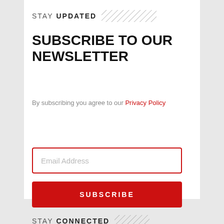STAY UPDATED
SUBSCRIBE TO OUR NEWSLETTER
By subscribing you agree to our Privacy Policy
Email Address
SUBSCRIBE
STAY CONNECTED